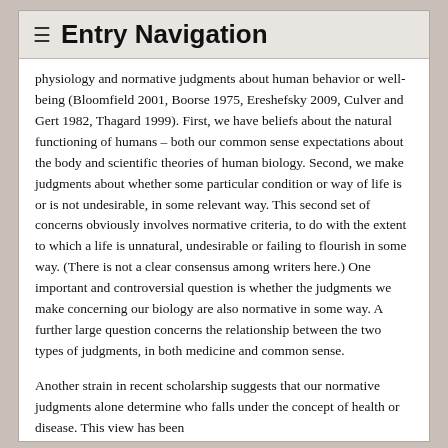≡ Entry Navigation
physiology and normative judgments about human behavior or well-being (Bloomfield 2001, Boorse 1975, Ereshefsky 2009, Culver and Gert 1982, Thagard 1999). First, we have beliefs about the natural functioning of humans – both our common sense expectations about the body and scientific theories of human biology. Second, we make judgments about whether some particular condition or way of life is or is not undesirable, in some relevant way. This second set of concerns obviously involves normative criteria, to do with the extent to which a life is unnatural, undesirable or failing to flourish in some way. (There is not a clear consensus among writers here.) One important and controversial question is whether the judgments we make concerning our biology are also normative in some way. A further large question concerns the relationship between the two types of judgments, in both medicine and common sense.
Another strain in recent scholarship suggests that our normative judgments alone determine who falls under the concept of health or disease. This view has been...